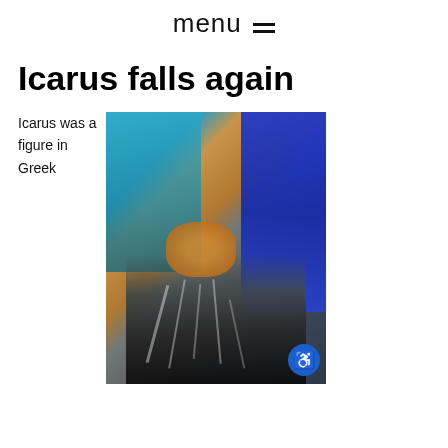menu ≡
Icarus falls again
Icarus was a figure in Greek
[Figure (photo): Two people in blue and teal clothing handling what appears to be a large bird wing or feathered object with metallic/dark feathers, with gloves visible. An accessibility button is visible in the bottom right corner.]